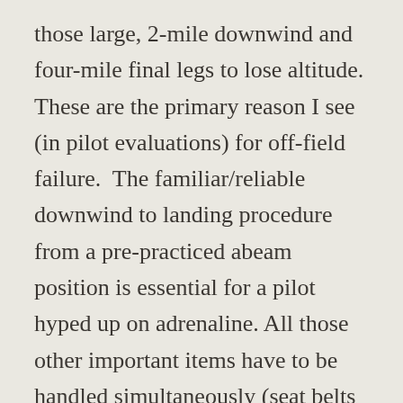those large, 2-mile downwind and four-mile final legs to lose altitude. These are the primary reason I see (in pilot evaluations) for off-field failure. The familiar/reliable downwind to landing procedure from a pre-practiced abeam position is essential for a pilot hyped up on adrenaline. All those other important items have to be handled simultaneously (seat belts tight, door cracked, emergency call and shut down). Remember, if you miss the field entirely